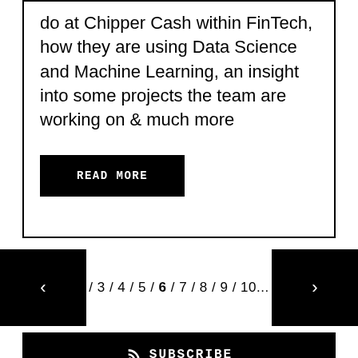do at Chipper Cash within FinTech, how they are using Data Science and Machine Learning, an insight into some projects the team are working on & much more
READ MORE
/ 3 / 4 / 5 / 6 / 7 / 8 / 9 / 10...
SUBSCRIBE